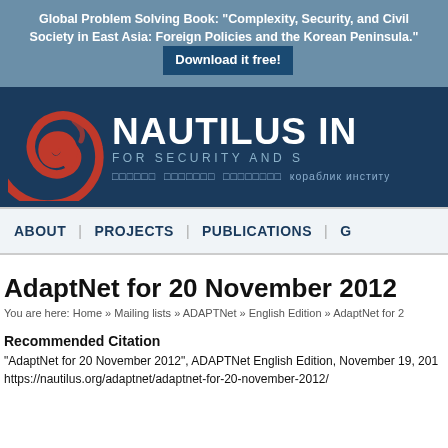Global Problem Solving Book: "Complexity, Security, and Civil Society in East Asia: Foreign Policies and the Korean Peninsula." Download it free!
[Figure (logo): Nautilus Institute logo with red spiral and text NAUTILUS IN FOR SECURITY AND S with multilingual text below]
ABOUT | PROJECTS | PUBLICATIONS | G
AdaptNet for 20 November 2012
You are here: Home » Mailing lists » ADAPTNet » English Edition » AdaptNet for 2
Recommended Citation
"AdaptNet for 20 November 2012", ADAPTNet English Edition, November 19, 201
https://nautilus.org/adaptnet/adaptnet-for-20-november-2012/